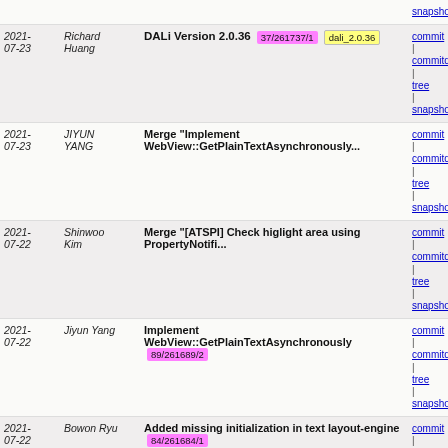| Date | Author | Message | Links |
| --- | --- | --- | --- |
| 2021-07-23 | Richard Huang | DALi Version 2.0.36  37/261737/1  dali_2.0.36 | commit | commitdiff | tree | snapshot |
| 2021-07-23 | JIYUN YANG | Merge "Implement WebView::GetPlainTextAsynchronously... | commit | commitdiff | tree | snapshot |
| 2021-07-22 | Shinwoo Kim | Merge "[ATSPI] Check higlight area using PropertyNotifi... | commit | commitdiff | tree | snapshot |
| 2021-07-22 | Jiyun Yang | Implement WebView::GetPlainTextAsynchronously  89/261689/2 | commit | commitdiff | tree | snapshot |
| 2021-07-22 | Bowon Ryu | Added missing initialization in text layout-engine  84/261684/1 | commit | commitdiff | tree | snapshot |
| 2021-07-22 | Bowon Ryu | Fix coverity issue in text layout-engine  80/261680/1 | commit | commitdiff | tree | snapshot |
| 2021-07-21 | Seungho BAEK | Merge "Fix to do not remove entity inside loop.(Transit... | commit | commitdiff | tree | snapshot |
| 2021-07-21 | Seungho BAEK | Merge "Add ApplyCustomFragmentPrefix" into devel/master | commit | commitdiff | tree | snapshot |
| 2021-07-21 | Shinwoo Kim | [ATSPI] Check higlight area using PropertyNotification  42/260342/18 | commit | commitdiff | tree | snapshot |
| 2021-07-19 | Joogab Yun | Add Timer at TapGestureRecognizer  08/260808/8 | commit | commitdiff | tree | snapshot |